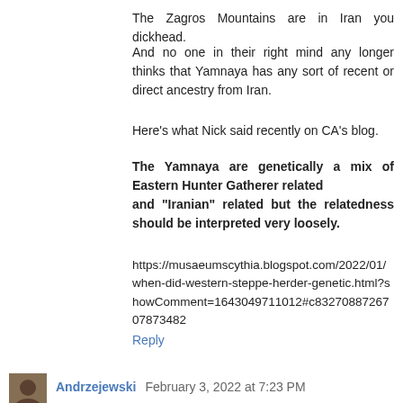The Zagros Mountains are in Iran you dickhead.
And no one in their right mind any longer thinks that Yamnaya has any sort of recent or direct ancestry from Iran.
Here's what Nick said recently on CA's blog.
The Yamnaya are genetically a mix of Eastern Hunter Gatherer related
and "Iranian" related but the relatedness should be interpreted very loosely.
https://musaeumscythia.blogspot.com/2022/01/when-did-western-steppe-herder-genetic.html?showComment=1643049711012#c8327088726707873482
Reply
Andrzejewski February 3, 2022 at 7:23 PM